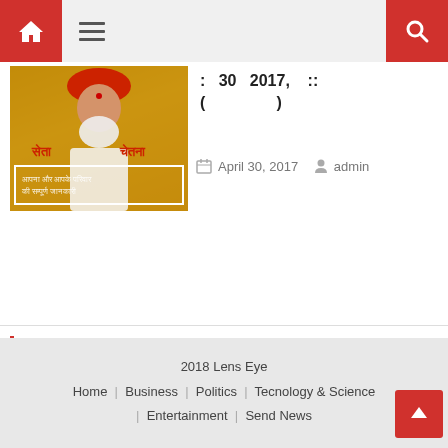Home menu search
[Figure (photo): A man wearing a red turban and white traditional clothing, with Hindi text overlay and a white border box at the bottom of the image.]
: 30 2017, ( ) ::
April 30, 2017   admin
ABOUT US
2018 Lens Eye   Home | Business | Politics | Tecnology & Science | Entertainment | Send News